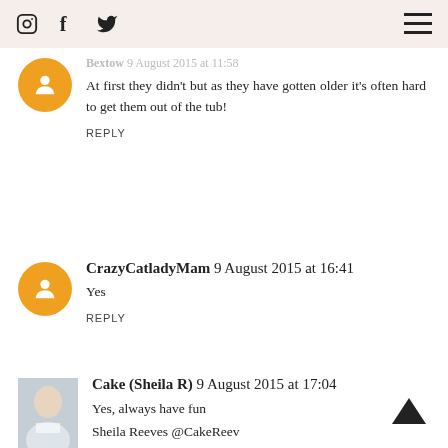Instagram Facebook Twitter (nav icons) hamburger menu
Bextow 9 August 2015 at 11:58
At first they didn't but as they have gotten older it's often hard to get them out of the tub!
REPLY
CrazyCatladyMam 9 August 2015 at 16:41
Yes
REPLY
Cake (Sheila R) 9 August 2015 at 17:04
Yes, always have fun
Sheila Reeves @CakeReev
REPLY